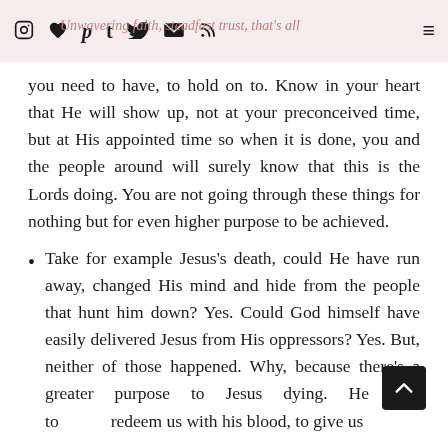social icons: instagram, heart, pinterest, tumblr, twitter, email, rss | menu icon | Unwavering faith, steadfast trust, that's all you need to have…
you need to have, to hold on to. Know in your heart that He will show up, not at your preconceived time, but at His appointed time so when it is done, you and the people around will surely know that this is the Lords doing. You are not going through these things for nothing but for even higher purpose to be achieved.
Take for example Jesus's death, could He have run away, changed His mind and hide from the people that hunt him down? Yes. Could God himself have easily delivered Jesus from His oppressors? Yes. But, neither of those happened. Why, because there's a greater purpose to Jesus dying. He died to redeem us with his blood, to give us eternal life. He went first so that he had…